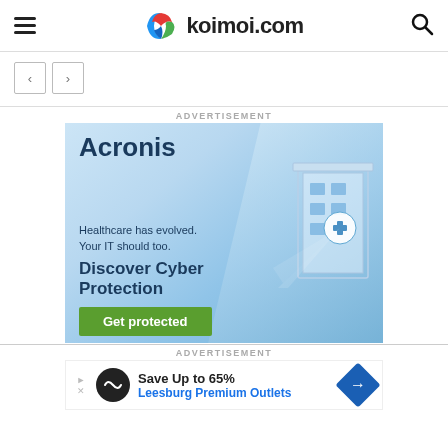koimoi.com
[Figure (screenshot): Navigation arrows (previous and next) below the header]
ADVERTISEMENT
[Figure (illustration): Acronis advertisement: Healthcare has evolved. Your IT should too. Discover Cyber Protection. Get protected button with building illustration.]
ADVERTISEMENT
[Figure (illustration): Bottom ad: Save Up to 65% Leesburg Premium Outlets]